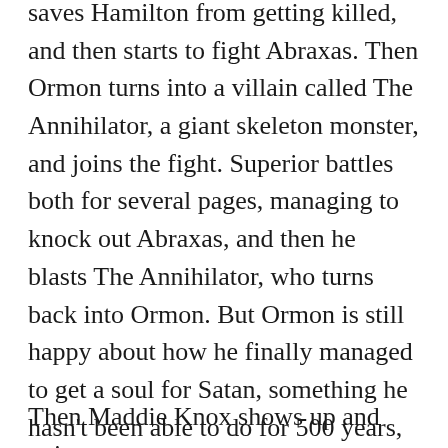saves Hamilton from getting killed, and then starts to fight Abraxas. Then Ormon turns into a villain called The Annihilator, a giant skeleton monster, and joins the fight. Superior battles both for several pages, managing to knock out Abraxas, and then he blasts The Annihilator, who turns back into Ormon. But Ormon is still happy about how he finally managed to get a soul for Satan, something he hasn't been able to do for 500 years, and that it was just in time because if he hadn't bought a soul by midnight, he'd be dragged to the deepest pit of Hell.
Then Maddie Knox shows up and point out to